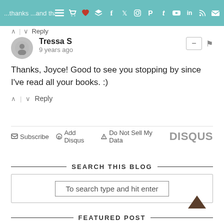...thanks ...and thanks for stopping back! :)
Tressa S
9 years ago
Thanks, Joyce! Good to see you stopping by since I've read all your books. :)
Subscribe   Add Disqus   Do Not Sell My Data   DISQUS
SEARCH THIS BLOG
To search type and hit enter
FEATURED POST